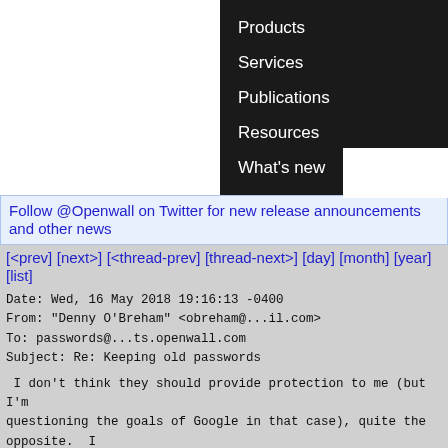[Figure (screenshot): Website navigation menu with dark background showing Products, Services, Publications, Resources, What's new links]
Follow @Openwall on Twitter for new release announcements and other news
[<prev] [next>] [<thread-prev] [thread-next>] [day] [month] [year] [list]
Date: Wed, 16 May 2018 19:16:13 -0400
From: "Denny O'Breham" <obreham@...il.com>
To: passwords@...ts.openwall.com
Subject: Re: Keeping old passwords
I don't think they should provide protection to me (but I'm
questioning the goals of Google in that case), quite the opposite.  I
hate when a website owner thinks for me and assume all sort of things
(like telling me what characters should be in my